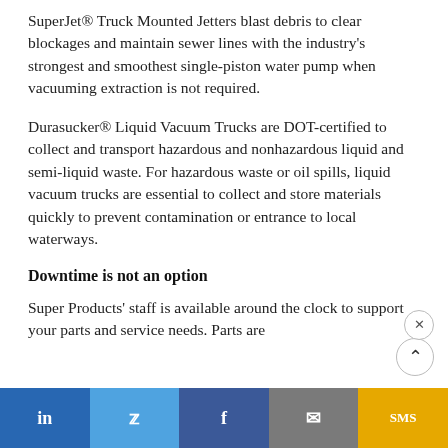SuperJet® Truck Mounted Jetters blast debris to clear blockages and maintain sewer lines with the industry's strongest and smoothest single-piston water pump when vacuuming extraction is not required.
Durasucker® Liquid Vacuum Trucks are DOT-certified to collect and transport hazardous and nonhazardous liquid and semi-liquid waste. For hazardous waste or oil spills, liquid vacuum trucks are essential to collect and store materials quickly to prevent contamination or entrance to local waterways.
Downtime is not an option
Super Products' staff is available around the clock to support your parts and service needs. Parts are
in  |  Twitter  |  f  |  email  |  SMS